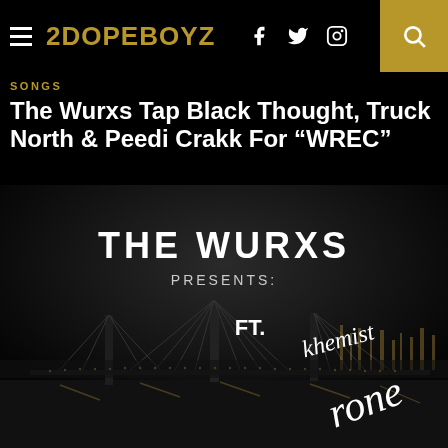2DOPEBOYZ
SONGS
The Wurxs Tap Black Thought, Truck North & Peedi Crakk For “WREC”
[Figure (photo): Promotional image for The Wurxs music release. Dark night cityscape with a bridge lit up over water. Text overlay reads: THE WURXS PRESENTS: FT. khemist rone]